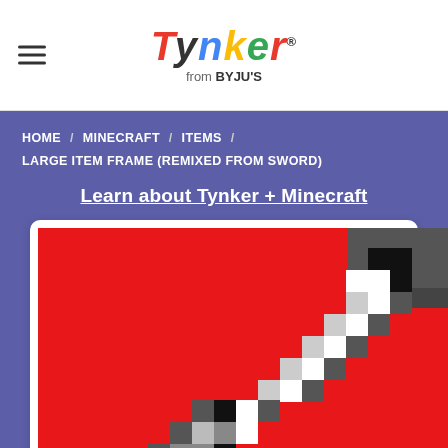Tynker from BYJU'S
HOME / MINECRAFT / ITEMS / LARGE ITEM FRAME (REMIXED FROM SWORD)
Learn about Tynker + Minecraft
[Figure (illustration): Pixel art of a Minecraft sword item on a red background, diagonal sword design with black, white, gray and dark gray pixels]